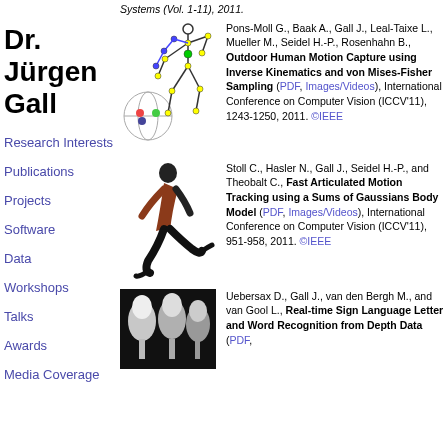Dr. Jürgen Gall
Research Interests
Publications
Projects
Software
Data
Workshops
Talks
Awards
Media Coverage
Systems (Vol. 1-11), 2011.
[Figure (illustration): Skeleton motion capture figure with a globe showing orientation tracking]
Pons-Moll G., Baak A., Gall J., Leal-Taixe L., Mueller M., Seidel H.-P., Rosenhahn B., Outdoor Human Motion Capture using Inverse Kinematics and von Mises-Fisher Sampling (PDF, Images/Videos), International Conference on Computer Vision (ICCV'11), 1243-1250, 2011. ©IEEE
[Figure (photo): Person running, full body motion capture pose]
Stoll C., Hasler N., Gall J., Seidel H.-P., and Theobalt C., Fast Articulated Motion Tracking using a Sums of Gaussians Body Model (PDF, Images/Videos), International Conference on Computer Vision (ICCV'11), 951-958, 2011. ©IEEE
[Figure (photo): White flower/tulip shapes from depth data]
Uebersax D., Gall J., van den Bergh M., and van Gool L., Real-time Sign Language Letter and Word Recognition from Depth Data (PDF,